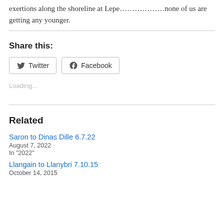exertions along the shoreline at Lepe………………none of us are getting any younger.
Share this:
[Figure (other): Twitter and Facebook share buttons]
Loading...
Related
Saron to Dinas Dille 6.7.22
August 7, 2022
In "2022"
Llangain to Llanybri 7.10.15
October 14, 2015